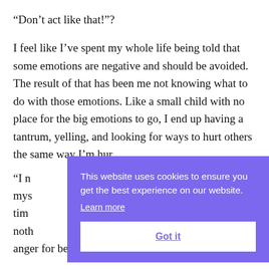“Don’t act like that!”?
I feel like I’ve spent my whole life being told that some emotions are negative and should be avoided. The result of that has been me not knowing what to do with those emotions. Like a small child with no place for the big emotions to go, I end up having a tantrum, yelling, and looking for ways to hurt others the same way I’m hurt.
“I n… mys… time… noth… anger for being a human being.
This website uses cookies to ensure you get the best experience on our website.
Learn more
Got it